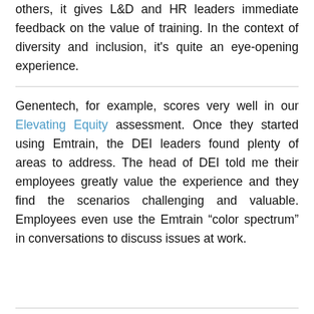others, it gives L&D and HR leaders immediate feedback on the value of training. In the context of diversity and inclusion, it's quite an eye-opening experience.
Genentech, for example, scores very well in our Elevating Equity assessment. Once they started using Emtrain, the DEI leaders found plenty of areas to address. The head of DEI told me their employees greatly value the experience and they find the scenarios challenging and valuable. Employees even use the Emtrain “color spectrum” in conversations to discuss issues at work.